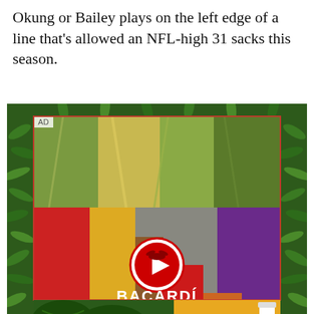Okung or Bailey plays on the left edge of a line that's allowed an NFL-high 31 sacks this season.
[Figure (photo): Bacardi advertisement showing colorful dancers' legs and feet in festive clothing, with Bacardi logo and play button in center, tropical leaf border around the ad, and 'DO WHAT MOVES YOU' tagline. Bottom strip shows watermelons and yellow produce.]